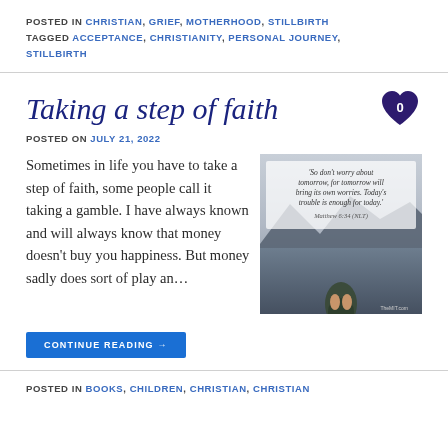POSTED IN CHRISTIAN, GRIEF, MOTHERHOOD, STILLBIRTH TAGGED ACCEPTANCE, CHRISTIANITY, PERSONAL JOURNEY, STILLBIRTH
Taking a step of faith
POSTED ON JULY 21, 2022
Sometimes in life you have to take a step of faith, some people call it taking a gamble. I have always known and will always know that money doesn't buy you happiness. But money sadly does sort of play an…
[Figure (photo): Photo of feet on a kayak on a lake with mountains, overlaid with a scripture quote: 'So don't worry about tomorrow, for tomorrow will bring its own worries. Today's trouble is enough for today.' Matthew 6:34 (NLT)]
CONTINUE READING →
POSTED IN BOOKS, CHILDREN, CHRISTIAN, CHRISTIAN